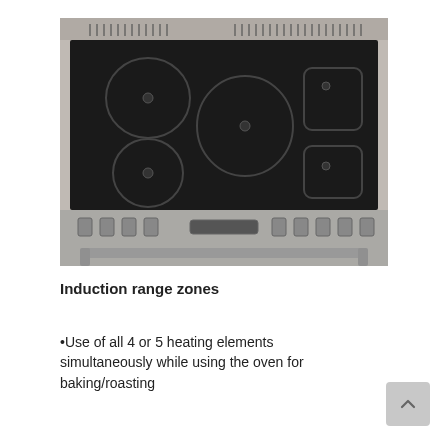[Figure (photo): Overhead view of an induction range cooktop with 5 heating zones on a black glass surface set in a stainless steel frame with control knobs below.]
Induction range zones
•Use of all 4 or 5 heating elements simultaneously while using the oven for baking/roasting